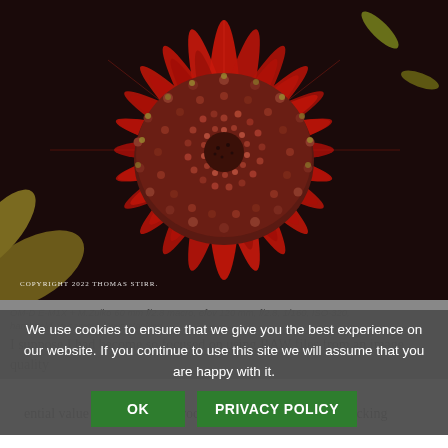[Figure (photo): Close-up macro photograph of a red gerbera daisy flower, showing the detailed center disc florets and radiating red petals. Copyright 2022 Thomas Stirr watermark in lower left.]
COPYRIGHT 2022 THOMAS STIRR.
OM-D E-M1X + M.Zuiko 60 mm f/2.8 macro, efov 120 mm, f/2.8, 1/160, ISO-320, hand-held, in-camera focus stacking
I suppose I had become so focused on using RAW files from an image quality standpoint that I had overlooked the potential value with the jpegs produced by in-camera focus stacking
We use cookies to ensure that we give you the best experience on our website. If you continue to use this site we will assume that you are happy with it.